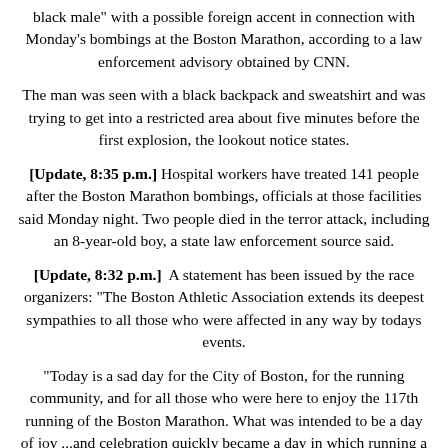black male" with a possible foreign accent in connection with Monday's bombings at the Boston Marathon, according to a law enforcement advisory obtained by CNN.
The man was seen with a black backpack and sweatshirt and was trying to get into a restricted area about five minutes before the first explosion, the lookout notice states.
[Update, 8:35 p.m.] Hospital workers have treated 141 people after the Boston Marathon bombings, officials at those facilities said Monday night. Two people died in the terror attack, including an 8-year-old boy, a state law enforcement source said.
[Update, 8:32 p.m.] A statement has been issued by the race organizers: "The Boston Athletic Association extends its deepest sympathies to all those who were affected in any way by todays events.
"Today is a sad day for the City of Boston, for the running community, and for all those who were here to enjoy the 117th running of the Boston Marathon. What was intended to be a day of joy ...and celebration quickly became a day in which running a marathon was of little importance.
"We can confirm that all of the remaining runners who were out on the course have been given an opportunity to finish their race...